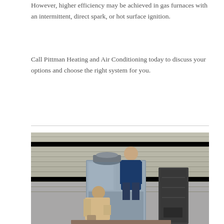However, higher efficiency may be achieved in gas furnaces with an intermittent, direct spark, or hot surface ignition.
Call Pittman Heating and Air Conditioning today to discuss your options and choose the right system for you.
[Figure (photo): Two technicians installing or servicing a large HVAC furnace unit outside a building with grey siding. One worker crouches at the bottom of the unit while another stands behind it.]